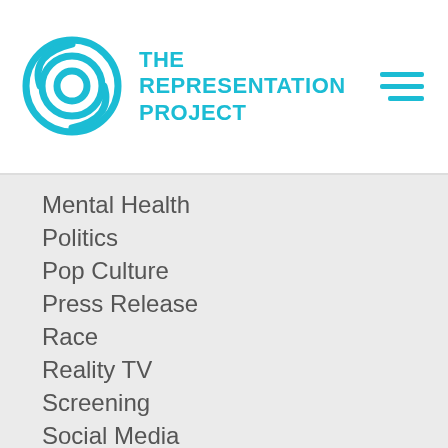THE REPRESENTATION PROJECT
Mental Health
Politics
Pop Culture
Press Release
Race
Reality TV
Screening
Social Media
Sports
Take Action
Technology